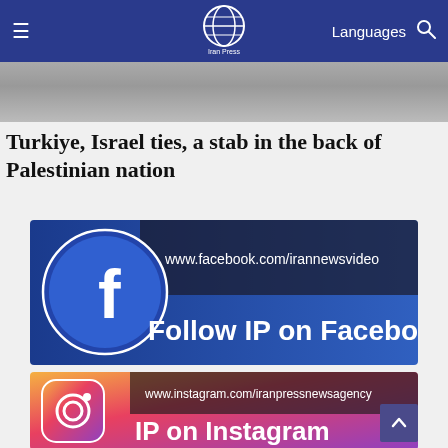Iran Press — Languages
[Figure (photo): Partial photo of a person, cropped at the header boundary]
Turkiye, Israel ties, a stab in the back of Palestinian nation
[Figure (other): Facebook banner: Follow IP on Facebook — www.facebook.com/irannewsvideo]
[Figure (other): Instagram banner: IP on Instagram — www.instagram.com/iranpressnewsagency]